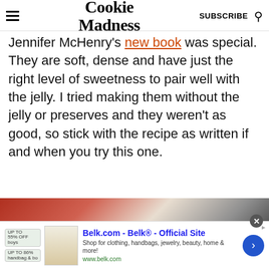Cookie Madness — SUBSCRIBE
Jennifer McHenry's new book was special. They are soft, dense and have just the right level of sweetness to pair well with the jelly. I tried making them without the jelly or preserves and they weren't as good, so stick with the recipe as written if and when you try this one.
[Figure (photo): Partial food photo strip showing red/pink baked goods on the left and a gray background on the right]
[Figure (screenshot): Belk.com advertisement banner: 'Belk.com - Belk® - Official Site. Shop for clothing, handbags, jewelry, beauty, home & more! www.belk.com']